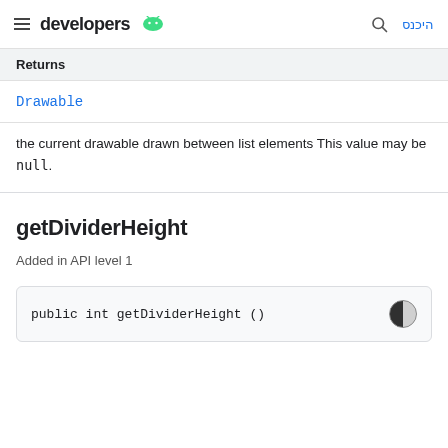developers
| Returns |
| --- |
| Drawable |
| the current drawable drawn between list elements This value may be null. |
getDividerHeight
Added in API level 1
public int getDividerHeight ()